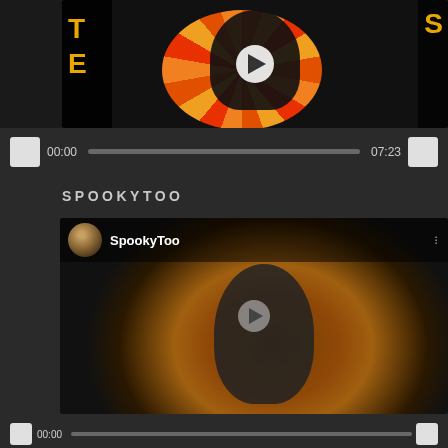[Figure (screenshot): Video player showing animated cartoon character (Felix the Cat style) on dark background with orange/red sunburst. Play button visible. Time display 00:00 and 07:23 with progress bar.]
SPOOKYTOO
[Figure (screenshot): Video thumbnail with SpookyToo channel header showing avatar, channel name 'SpookyToo', and animated cartoon cat on dark background with muted sunburst. Play button visible.]